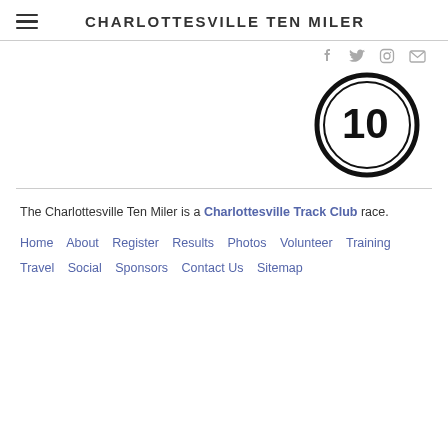CHARLOTTESVILLE TEN MILER
[Figure (logo): 10 Miler circular logo with large '10' inside a ring and 'MILER' text]
The Charlottesville Ten Miler is a Charlottesville Track Club race.
Home   About   Register   Results   Photos   Volunteer   Training   Travel   Social   Sponsors   Contact Us   Sitemap